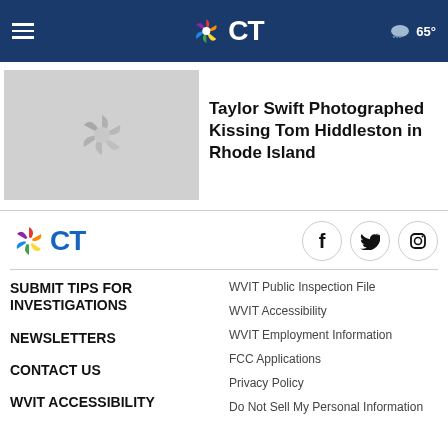NBC CT — 65°
[Figure (screenshot): Article thumbnail with NBC peacock logo on grey background]
Taylor Swift Photographed Kissing Tom Hiddleston in Rhode Island
[Figure (logo): NBC CT logo in footer]
SUBMIT TIPS FOR INVESTIGATIONS
NEWSLETTERS
CONTACT US
WVIT ACCESSIBILITY
WVIT Public Inspection File
WVIT Accessibility
WVIT Employment Information
FCC Applications
Privacy Policy
Do Not Sell My Personal Information